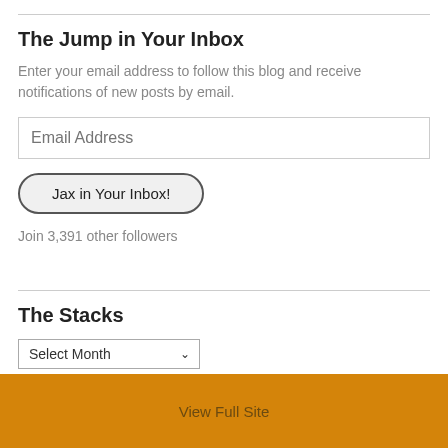The Jump in Your Inbox
Enter your email address to follow this blog and receive notifications of new posts by email.
Email Address
Jax in Your Inbox!
Join 3,391 other followers
The Stacks
Select Month
View Full Site